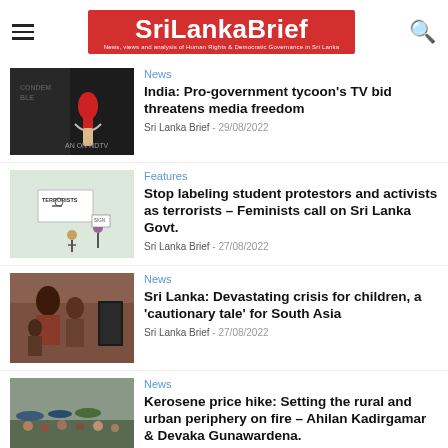SriLankaBrief — News, views and analysis of Human Rights & Democratic Governance in Sri Lanka
News
India: Pro-government tycoon's TV bid threatens media freedom
Sri Lanka Brief - 29/08/2022
Features
Stop labeling student protestors and activists as terrorists – Feminists call on Sri Lanka Govt.
Sri Lanka Brief - 27/08/2022
News
Sri Lanka: Devastating crisis for children, a 'cautionary tale' for South Asia
Sri Lanka Brief - 27/08/2022
News
Kerosene price hike: Setting the rural and urban periphery on fire – Ahilan Kadirgamar & Devaka Gunawardena.